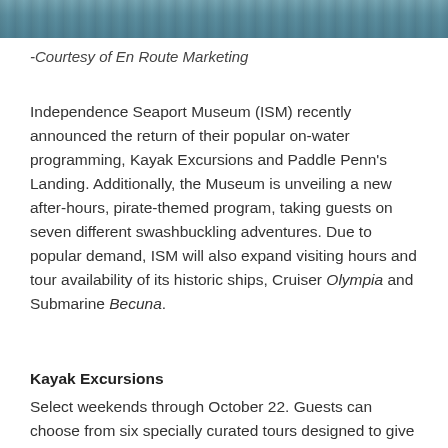[Figure (photo): Partial image of water scene at the top of the page]
-Courtesy of En Route Marketing
Independence Seaport Museum (ISM) recently announced the return of their popular on-water programming, Kayak Excursions and Paddle Penn's Landing. Additionally, the Museum is unveiling a new after-hours, pirate-themed program, taking guests on seven different swashbuckling adventures. Due to popular demand, ISM will also expand visiting hours and tour availability of its historic ships, Cruiser Olympia and Submarine Becuna.
Kayak Excursions
Select weekends through October 22. Guests can choose from six specially curated tours designed to give unique perspectives of the Delaware River.